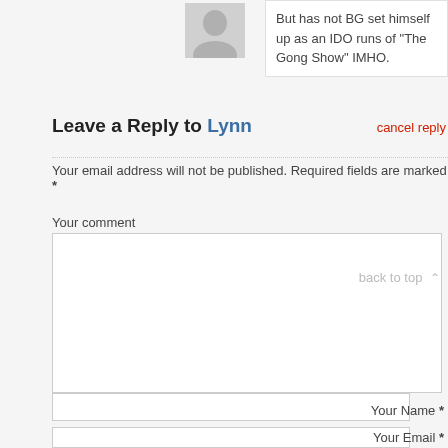[Figure (illustration): User avatar placeholder icon (grey silhouette)]
But has not BG set himself up as an IDO runs of "The Gong Show" IMHO.
Leave a Reply to Lynn
cancel reply
Your email address will not be published. Required fields are marked *
Your comment
back to top
Your Name *
Your Email *